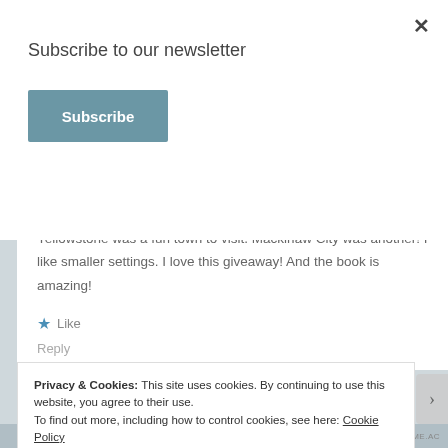Subscribe to our newsletter
Subscribe
Hmmm, this is a tough question because I love traveling. West Yellowstone was a fun town to visit. Mackinaw City was another! I like smaller settings. I love this giveaway! And the book is amazing!
★ Like
Reply
Privacy & Cookies: This site uses cookies. By continuing to use this website, you agree to their use.
To find out more, including how to control cookies, see here: Cookie Policy
Close and accept
AIRPORT-TIME.AC